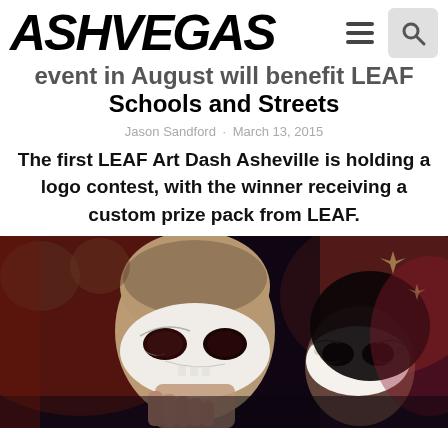ASHVEGAS
event in August will benefit LEAF Schools and Streets
Jason Sandford · March 13, 2015
The first LEAF Art Dash Asheville is holding a logo contest, with the winner receiving a custom prize pack from LEAF.
[Figure (photo): Two people wearing decorative masquerade masks, one white skull-style mask in the foreground held by a person with a shaved head, another ornate white mask in the background, taken at what appears to be an event with warm reddish lighting.]